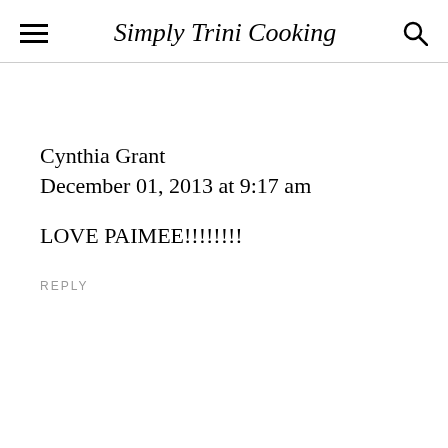Simply Trini Cooking
Cynthia Grant
December 01, 2013 at 9:17 am
LOVE PAIMEE!!!!!!!!
REPLY